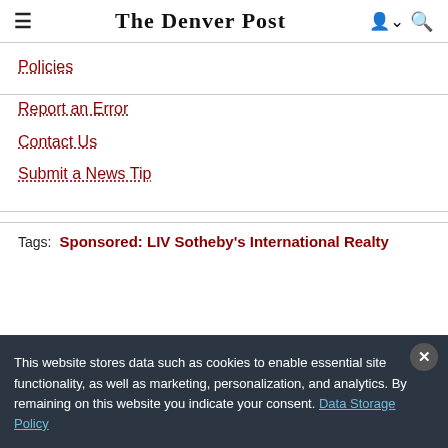The Denver Post
Policies
Report an Error
Contact Us
Submit a News Tip
Tags: Sponsored: LIV Sotheby's International Realty
This website stores data such as cookies to enable essential site functionality, as well as marketing, personalization, and analytics. By remaining on this website you indicate your consent. Data Storage Policy